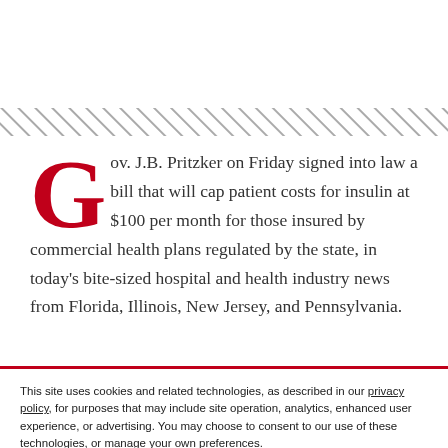[Figure (other): Diagonal hatch pattern decorative bar across full width]
Gov. J.B. Pritzker on Friday signed into law a bill that will cap patient costs for insulin at $100 per month for those insured by commercial health plans regulated by the state, in today's bite-sized hospital and health industry news from Florida, Illinois, New Jersey, and Pennsylvania.
This site uses cookies and related technologies, as described in our privacy policy, for purposes that may include site operation, analytics, enhanced user experience, or advertising. You may choose to consent to our use of these technologies, or manage your own preferences.
Manage Preferences | Accept All